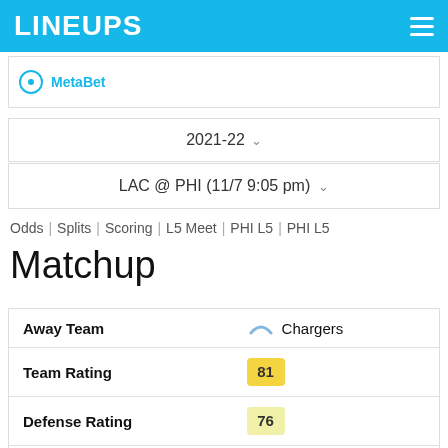LINEUPS
MetaBet
2021-22
LAC @ PHI (11/7 9:05 pm)
Odds | Splits | Scoring | L5 Meet | PHI L5 | PHI L5
Matchup
|  |  |
| --- | --- |
| Away Team | Chargers |
| Team Rating | 81 |
| Defense Rating | 76 |
| Offense Rating | 86 |
| Spread O | 8.5 (-115) |